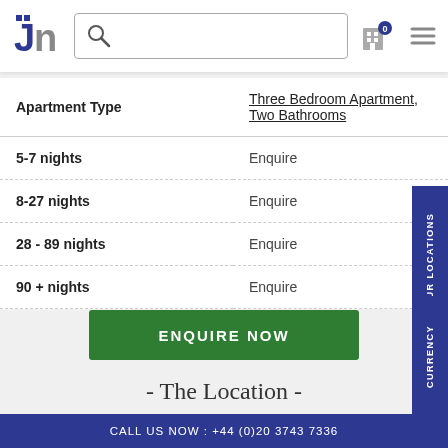JN logo, search bar, navigation icons
| Apartment Type | Three Bedroom Apartment, Two Bathrooms |
| --- | --- |
| 5-7 nights | Enquire |
| 8-27 nights | Enquire |
| 28 - 89 nights | Enquire |
| 90 + nights | Enquire |
ENQUIRE NOW
- The Location -
CALL US NOW : +44 (0)20 3743 7336